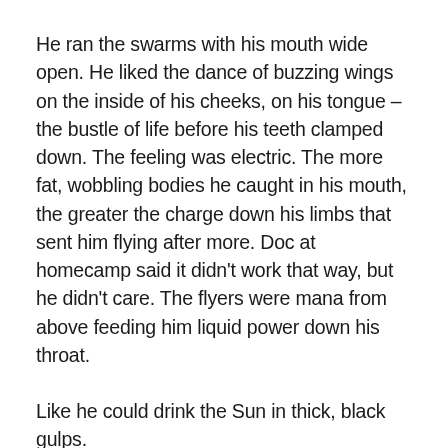He ran the swarms with his mouth wide open. He liked the dance of buzzing wings on the inside of his cheeks, on his tongue – the bustle of life before his teeth clamped down. The feeling was electric. The more fat, wobbling bodies he caught in his mouth, the greater the charge down his limbs that sent him flying after more. Doc at homecamp said it didn't work that way, but he didn't care. The flyers were mana from above feeding him liquid power down his throat.
Like he could drink the Sun in thick, black gulps.
Others still carried the old taboos. He didn't know how they survived. Box-food was stale, static. Lifeless. He didn't understand how anyone could